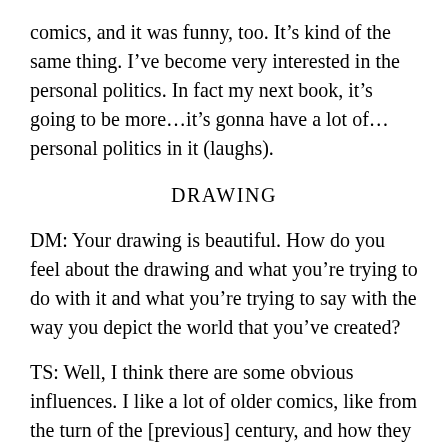comics, and it was funny, too. It’s kind of the same thing. I’ve become very interested in the personal politics. In fact my next book, it’s going to be more…it’s gonna have a lot of…personal politics in it (laughs).
DRAWING
DM: Your drawing is beautiful. How do you feel about the drawing and what you’re trying to do with it and what you’re trying to say with the way you depict the world that you’ve created?
TS: Well, I think there are some obvious influences. I like a lot of older comics, like from the turn of the [previous] century, and how they use pen and ink, that kind of thing. The drawing is really fun, because it’s like making music to me. It’s very important for every panel and every page and everything to